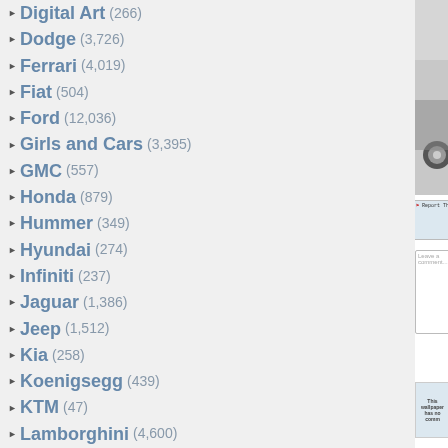Digital Art (266)
Dodge (3,726)
Ferrari (4,019)
Fiat (504)
Ford (12,036)
Girls and Cars (3,395)
GMC (557)
Honda (879)
Hummer (349)
Hyundai (274)
Infiniti (237)
Jaguar (1,386)
Jeep (1,512)
Kia (258)
Koenigsegg (439)
KTM (47)
Lamborghini (4,600)
Land Rover (432)
Lexus (840)
Lincoln (478)
Lotus (495)
Maserati (373)
Mazda (552)
McLaren (755)
Mercedes (2,964)
Mini Cooper (332)
Mitsubishi (517)
Motorcycles (Link)
Nissan (1,497)
Oldsmobile (492)
[Figure (photo): Partial view of a car (wheel and body panel visible) in the upper right corner of the page]
Report This Wallpaper
Add To F
Leave a comment...
This wallpaper has no comm